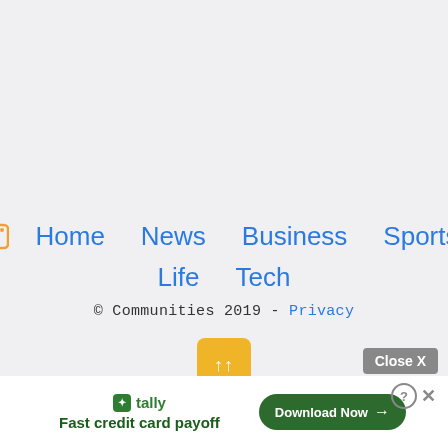Home  News  Business  Sports  Life  Tech  © Communities 2019 - Privacy
[Figure (other): Orange/yellow scroll-to-top button with double up-arrow (↑↑)]
[Figure (other): Advertisement banner: Tally - Fast credit card payoff, with Download Now button, Close X button, and help/close icons]